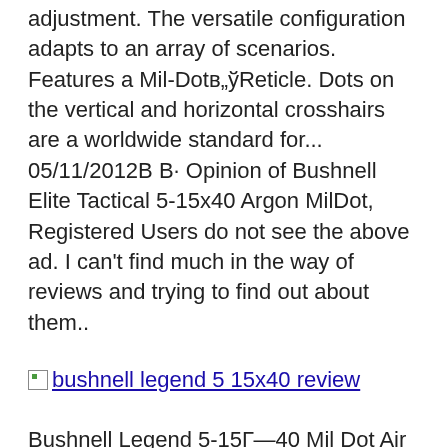adjustment. The versatile configuration adapts to an array of scenarios. Features a Mil-Dotв„ўReticle. Dots on the vertical and horizontal crosshairs are a worldwide standard for... 05/11/2012В В· Opinion of Bushnell Elite Tactical 5-15x40 Argon MilDot, Registered Users do not see the above ad. I can't find much in the way of reviews and trying to find out about them..
[Figure (illustration): Broken image placeholder with alt text: bushnell legend 5 15x40 review]
Bushnell Legend 5-15Г—40 Mil Dot Air Rifle Scopes Price Available on request